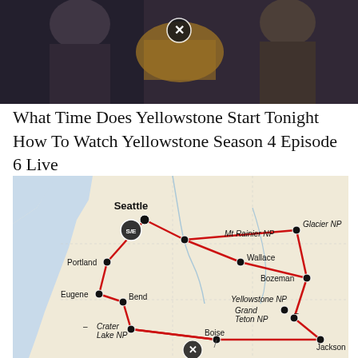[Figure (photo): Two men in western/formal attire, one holding a horse, promotional image for the TV show Yellowstone. A circular close button icon is visible in the center.]
What Time Does Yellowstone Start Tonight How To Watch Yellowstone Season 4 Episode 6 Live
[Figure (map): Road trip map of the Pacific Northwest and Rocky Mountain region showing a route connecting: Seattle (S/E start/end), Mt Rainier NP, Glacier NP, Wallace, Bozeman, Yellowstone NP, Grand Teton NP, Jackson, Boise, Crater Lake NP, Bend, Eugene, Portland. Route shown in red lines connecting dots at each location.]